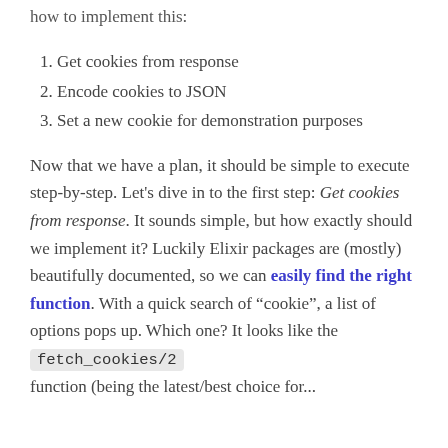how to implement this:
1. Get cookies from response
2. Encode cookies to JSON
3. Set a new cookie for demonstration purposes
Now that we have a plan, it should be simple to execute step-by-step. Let’s dive in to the first step: Get cookies from response. It sounds simple, but how exactly should we implement it? Luckily Elixir packages are (mostly) beautifully documented, so we can easily find the right function. With a quick search of “cookie”, a list of options pops up. Which one? It looks like the fetch_cookies/2
function (being the latest/best choice for...